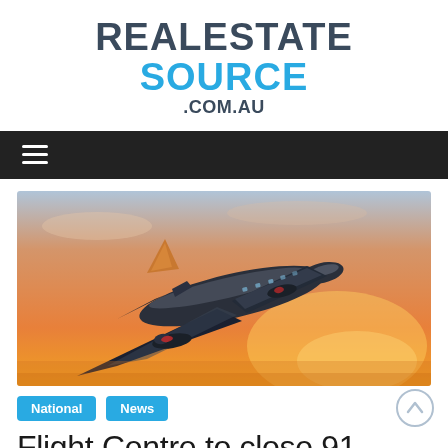REALESTATE SOURCE.COM.AU
[Figure (photo): Airplane flying against an orange sunset sky, viewed from below at an angle.]
National  News
Flight Centre to close 91